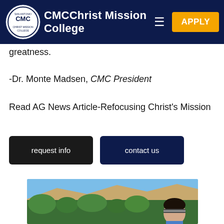CMC Christ Mission College
greatness.
-Dr. Monte Madsen, CMC President
Read AG News Article-Refocusing Christ's Mission
request info
contact us
[Figure (photo): Outdoor photo showing hills with green trees and a person wearing a striped headband in the foreground]